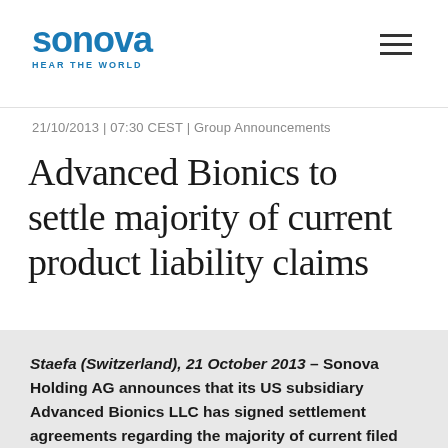sonova HEAR THE WORLD
21/10/2013 | 07:30 CEST | Group Announcements
Advanced Bionics to settle majority of current product liability claims
Staefa (Switzerland), 21 October 2013 – Sonova Holding AG announces that its US subsidiary Advanced Bionics LLC has signed settlement agreements regarding the majority of current filed and unfiled product liability claims related to cochlear implant malfunctions, including the